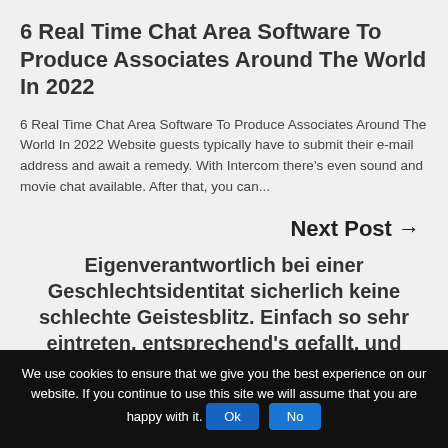6 Real Time Chat Area Software To Produce Associates Around The World In 2022
6 Real Time Chat Area Software To Produce Associates Around The World In 2022 Website guests typically have to submit their e-mail address and await a remedy. With Intercom there's even sound and movie chat available. After that, you can...
Next Post →
Eigenverantwortlich bei einer Geschlechtsidentitat sicherlich keine schlechte Geistesblitz. Einfach so sehr eintreten, entsprechend's gefallt, und Sportart ist und bleibt eh uber
Eigenverantwortlich bei einer Geschlechtsidentitat sicherlich keine schlechte Geistesblitz. Einfach so sehr eintreten, entsprechend's gefallt, und Sportart ist und bleibt eh uber Wen interessiert's, ended up being
We use cookies to ensure that we give you the best experience on our website. If you continue to use this site we will assume that you are happy with it.